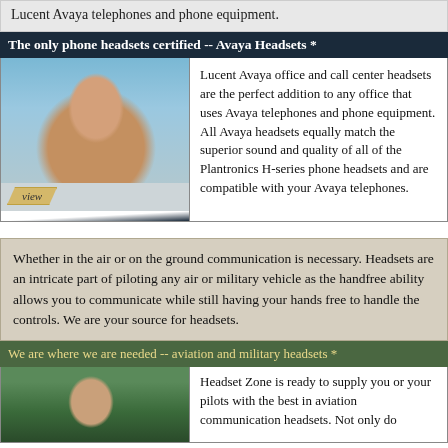Lucent Avaya telephones and phone equipment.
The only phone headsets certified -- Avaya Headsets *
[Figure (photo): Woman wearing a call center headset, smiling, with blue background]
Lucent Avaya office and call center headsets are the perfect addition to any office that uses Avaya telephones and phone equipment. All Avaya headsets equally match the superior sound and quality of all of the Plantronics H-series phone headsets and are compatible with your Avaya telephones.
Whether in the air or on the ground communication is necessary. Headsets are an intricate part of piloting any air or military vehicle as the handfree ability allows you to communicate while still having your hands free to handle the controls. We are your source for headsets.
We are where we are needed -- aviation and military headsets *
[Figure (photo): Woman wearing an aviation headset outdoors with green landscape in background]
Headset Zone is ready to supply you or your pilots with the best in aviation communication headsets. Not only do